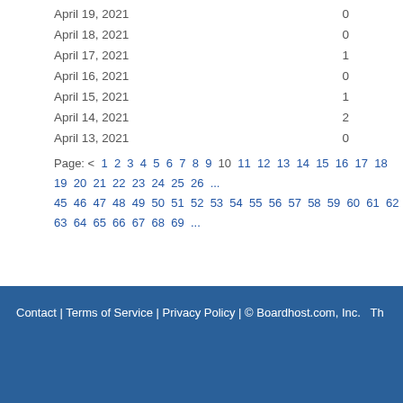| Date | Count |
| --- | --- |
| April 19, 2021 | 0 |
| April 18, 2021 | 0 |
| April 17, 2021 | 1 |
| April 16, 2021 | 0 |
| April 15, 2021 | 1 |
| April 14, 2021 | 2 |
| April 13, 2021 | 0 |
Page: < 1 2 3 4 5 6 7 8 9 10 11 12 13 14 15 16 17 18 19 20 21 22 23 24 25 26 ... 45 46 47 48 49 50 51 52 53 54 55 56 57 58 59 60 61 62 63 64 65 66 67 68 69 ...
Contact | Terms of Service | Privacy Policy | © Boardhost.com, Inc.  Th...